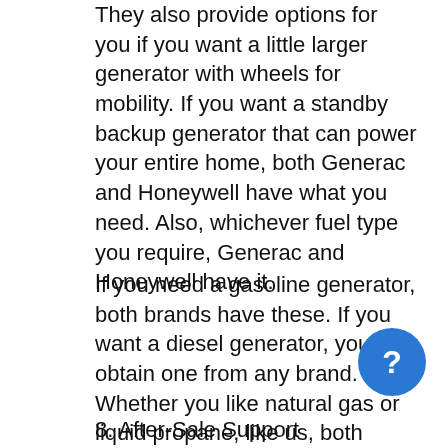They also provide options for you if you want a little larger generator with wheels for mobility. If you want a standby backup generator that can power your entire home, both Generac and Honeywell have what you need. Also, whichever fuel type you require, Generac and Honeywell have it.
If you need a gasoline generator, both brands have these. If you want a diesel generator, you may obtain one from any brand. Whether you like natural gas or liquid propane, like us, both brands have something to offer. As a result, they received a passing grade in terms of product diversity.
8. After-Sale Support